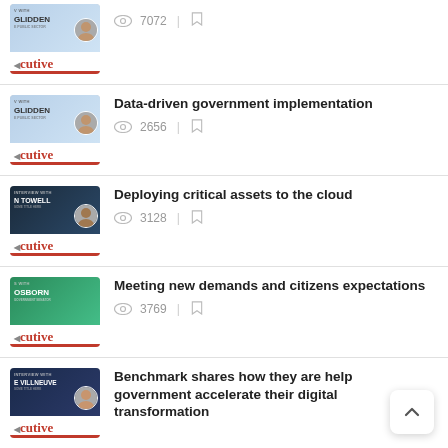7072 views
Data-driven government implementation — 2656 views
Deploying critical assets to the cloud — 3128 views
Meeting new demands and citizens expectations — 3769 views
Benchmark shares how they are help government accelerate their digital transformation